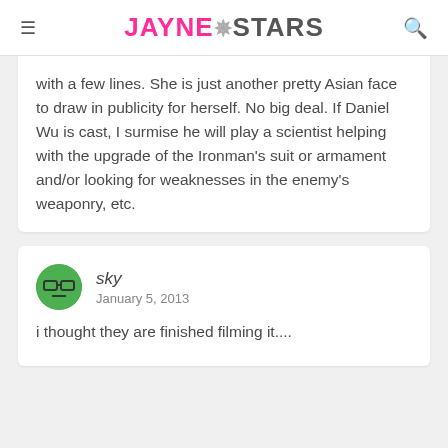JAYNE★STARS
with a few lines. She is just another pretty Asian face to draw in publicity for herself. No big deal. If Daniel Wu is cast, I surmise he will play a scientist helping with the upgrade of the Ironman's suit or armament and/or looking for weaknesses in the enemy's weaponry, etc.
sky
January 5, 2013
i thought they are finished filming it....